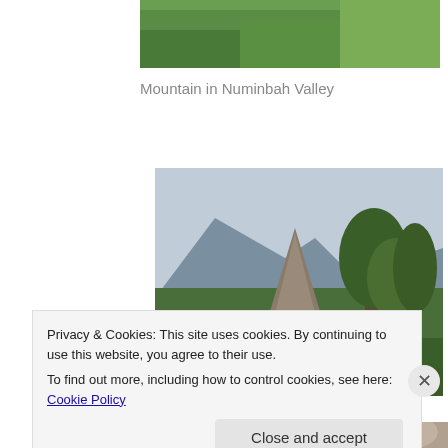[Figure (photo): Partial top strip of a landscape photo showing green vegetation and trees]
Mountain in Numinbah Valley
[Figure (photo): Photograph of a mountain in Numinbah Valley with a prominent rocky peak, surrounded by green trees and forest, with a light cloudy sky]
Privacy & Cookies: This site uses cookies. By continuing to use this website, you agree to their use.
To find out more, including how to control cookies, see here: Cookie Policy
Close and accept